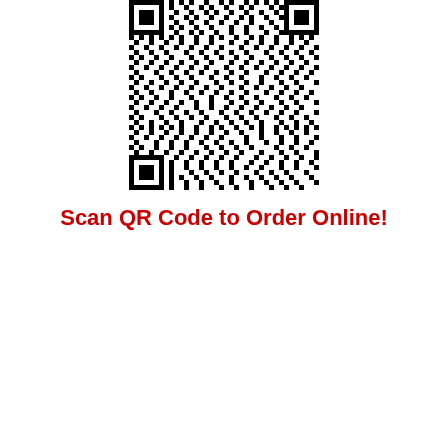[Figure (other): QR code image for scanning to order online]
Scan QR Code to Order Online!